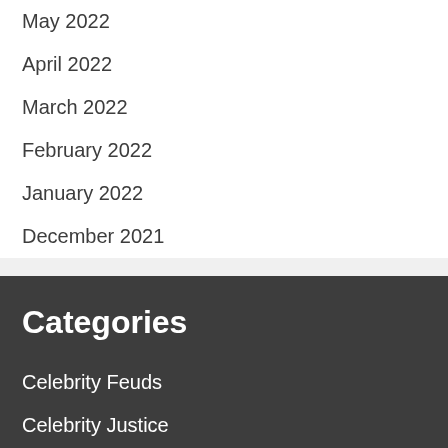May 2022
April 2022
March 2022
February 2022
January 2022
December 2021
Categories
Celebrity Feuds
Celebrity Justice
Fashion